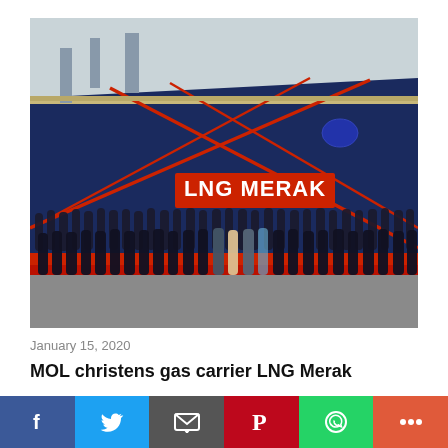[Figure (photo): Large LNG carrier ship named 'LNG MERAK' with a navy blue hull and red accents, with a group of people standing in rows in front of the ship's bow for a christening ceremony photo.]
January 15, 2020
MOL christens gas carrier LNG Merak
[Figure (infographic): Social media sharing bar with buttons for Facebook, Twitter, Email, Pinterest, WhatsApp, and More.]